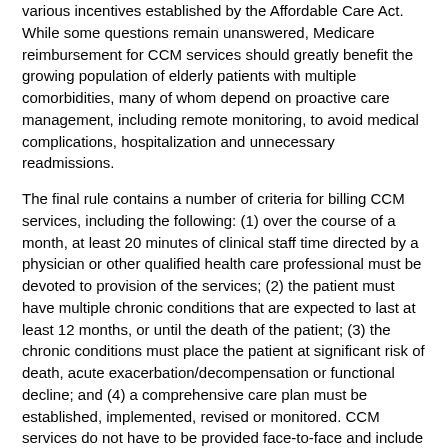various incentives established by the Affordable Care Act. While some questions remain unanswered, Medicare reimbursement for CCM services should greatly benefit the growing population of elderly patients with multiple comorbidities, many of whom depend on proactive care management, including remote monitoring, to avoid medical complications, hospitalization and unnecessary readmissions.
The final rule contains a number of criteria for billing CCM services, including the following: (1) over the course of a month, at least 20 minutes of clinical staff time directed by a physician or other qualified health care professional must be devoted to provision of the services; (2) the patient must have multiple chronic conditions that are expected to last at least 12 months, or until the death of the patient; (3) the chronic conditions must place the patient at significant risk of death, acute exacerbation/decompensation or functional decline; and (4) a comprehensive care plan must be established, implemented, revised or monitored. CCM services do not have to be provided face-to-face and include overseeing patient self-medication, ensuring receipt of all recommended preventative services, monitoring a patient's conditions and reviewing data reported about the patient from a remote monitoring device.
Providers who are eligible to bill for CCM services include physicians, nurse practictioners, physician assistants, clinical nurse specialists and midwives. The CCM provider must: (1)